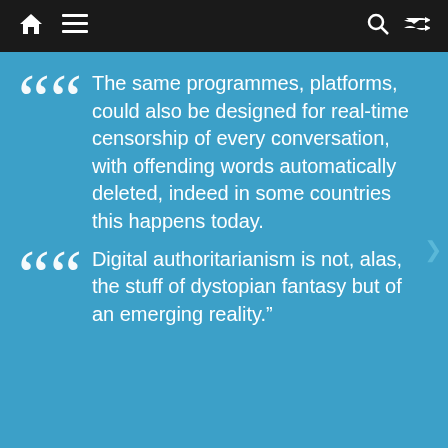Navigation bar with home, menu, search, shuffle icons
The same programmes, platforms, could also be designed for real-time censorship of every conversation, with offending words automatically deleted, indeed in some countries this happens today.
Digital authoritarianism is not, alas, the stuff of dystopian fantasy but of an emerging reality."